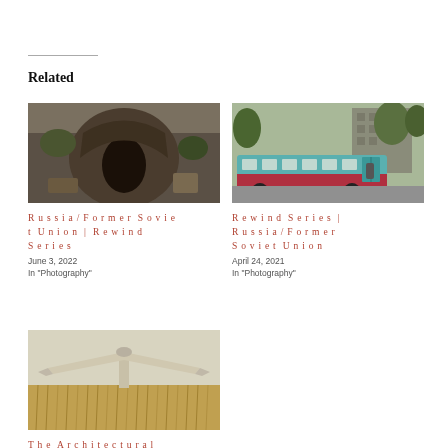Related
[Figure (photo): A large hollowed-out tree trunk with a dark doorway opening, surrounded by outdoor setting]
Russia/Former Soviet Union | Rewind Series
June 3, 2022
In "Photography"
[Figure (photo): A teal and red Soviet-era bus parked near a brick apartment building with green trees in the background]
Rewind Series | Russia/Former Soviet Union
April 24, 2021
In "Photography"
[Figure (photo): A Soviet-era architectural structure resembling a bird or eagle with spread wings, standing in a wheat field]
The Architectural Design Found At